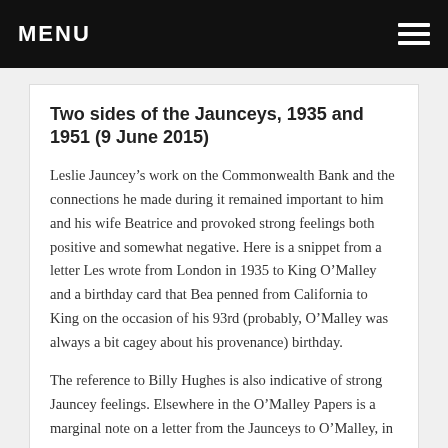MENU
Two sides of the Jaunceys, 1935 and 1951 (9 June 2015)
Leslie Jauncey’s work on the Commonwealth Bank and the connections he made during it remained important to him and his wife Beatrice and provoked strong feelings both positive and somewhat negative. Here is a snippet from a letter Les wrote from London in 1935 to King O’Malley and a birthday card that Bea penned from California to King on the occasion of his 93rd (probably, O’Malley was always a bit cagey about his provenance) birthday.
The reference to Billy Hughes is also indicative of strong Jauncey feelings. Elsewhere in the O’Malley Papers is a marginal note on a letter from the Jaunceys to O’Malley, in